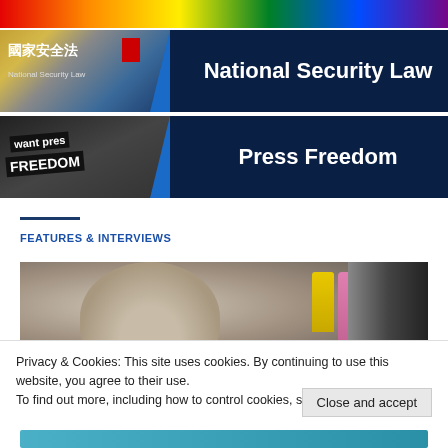[Figure (photo): Rainbow colored strip at the top of the page]
[Figure (photo): National Security Law banner with Chinese characters 國家安全法, a flag, and two figures on the left side]
National Security Law
[Figure (photo): Press Freedom banner with protest sign reading 'want press FREEDOM']
Press Freedom
FEATURES & INTERVIEWS
[Figure (photo): Elderly person with white/grey hair, with colorful bottles in background]
Privacy & Cookies: This site uses cookies. By continuing to use this website, you agree to their use.
To find out more, including how to control cookies, see here: Cookie Policy
Close and accept